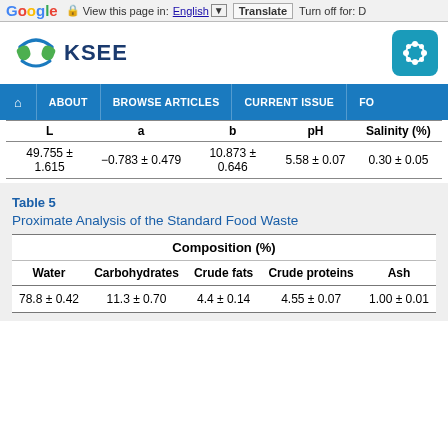Google | View this page in: English | Translate | Turn off for: D
[Figure (logo): KSEE journal logo with blue wave/hands icon and text KSEE]
[Figure (logo): Secondary logo (teal rounded square with floral/snowflake icon)]
HOME | ABOUT | BROWSE ARTICLES | CURRENT ISSUE | FO
| L | a | b | pH | Salinity (%) |
| --- | --- | --- | --- | --- |
| 49.755 ± 1.615 | −0.783 ± 0.479 | 10.873 ± 0.646 | 5.58 ± 0.07 | 0.30 ± 0.05 |
Table 5
Proximate Analysis of the Standard Food Waste
| Water | Carbohydrates | Crude fats | Crude proteins | Ash |
| --- | --- | --- | --- | --- |
| 78.8 ± 0.42 | 11.3 ± 0.70 | 4.4 ± 0.14 | 4.55 ± 0.07 | 1.00 ± 0.01 |